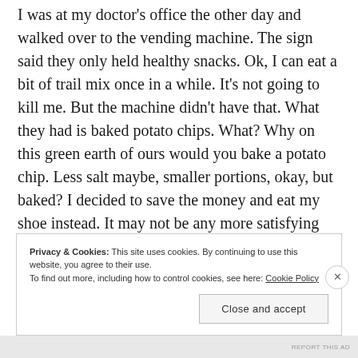I was at my doctor's office the other day and walked over to the vending machine. The sign said they only held healthy snacks. Ok, I can eat a bit of trail mix once in a while. It's not going to kill me. But the machine didn't have that. What they had is baked potato chips. What? Why on this green earth of ours would you bake a potato chip. Less salt maybe, smaller portions, okay, but baked? I decided to save the money and eat my shoe instead. It may not be any more satisfying but at least there is some flavor happening.
Privacy & Cookies: This site uses cookies. By continuing to use this website, you agree to their use. To find out more, including how to control cookies, see here: Cookie Policy
Close and accept